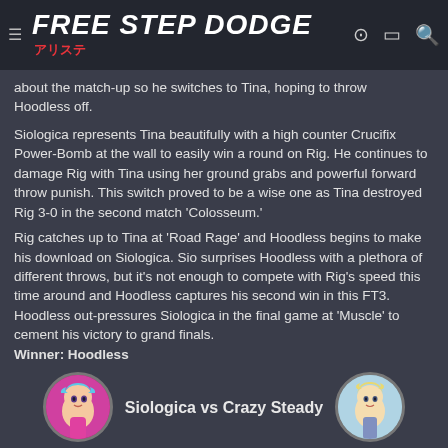Free Step Dodge
about the match-up so he switches to Tina, hoping to throw Hoodless off.
Siologica represents Tina beautifully with a high counter Crucifix Power-Bomb at the wall to easily win a round on Rig. He continues to damage Rig with Tina using her ground grabs and powerful forward throw punish. This switch proved to be a wise one as Tina destroyed Rig 3-0 in the second match 'Colosseum.'
Rig catches up to Tina at 'Road Rage' and Hoodless begins to make his download on Siologica. Sio surprises Hoodless with a plethora of different throws, but it's not enough to compete with Rig's speed this time around and Hoodless captures his second win in this FT3. Hoodless out-pressures Siologica in the final game at 'Muscle' to cement his victory to grand finals.
Winner: Hoodless
[Figure (illustration): Two circular avatar portraits side by side with label 'Siologica vs Crazy Steady' between them. Left avatar shows a female anime-style character with blue hair on a pink/magenta background. Right avatar shows a blonde anime-style character on a light blue background.]
XcaliburBladeZ at this point has BEEN ELIMINATED by Crazy Steady in an unbelievable off-screen match. Crazy Steady has great momentum going into his fight against Siologica, but he